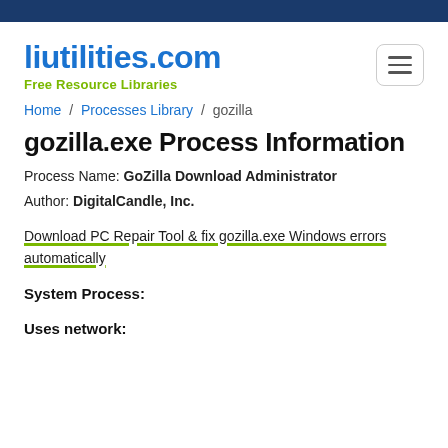liutilities.com — Free Resource Libraries
Home / Processes Library / gozilla
gozilla.exe Process Information
Process Name: GoZilla Download Administrator
Author: DigitalCandle, Inc.
Download PC Repair Tool & fix gozilla.exe Windows errors automatically
System Process:
Uses network: